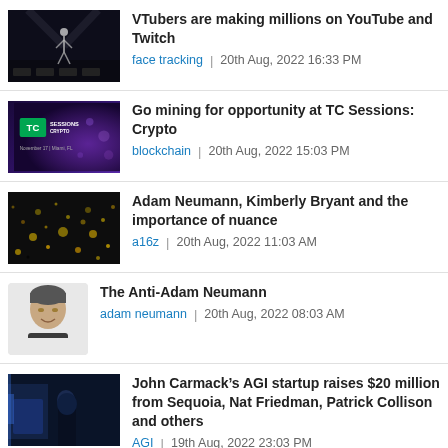VTubers are making millions on YouTube and Twitch | face tracking | 20th Aug, 2022 16:33 PM
Go mining for opportunity at TC Sessions: Crypto | blockchain | 20th Aug, 2022 15:03 PM
Adam Neumann, Kimberly Bryant and the importance of nuance | a16z | 20th Aug, 2022 11:03 AM
The Anti-Adam Neumann | adam neumann | 20th Aug, 2022 08:03 AM
John Carmack&#8217;s AGI startup raises $20 million from Sequoia, Nat Friedman, Patrick Collison and others | AGI | 19th Aug, 2022 23:03 PM
Daily Crunch: Ending a 4-year partnership, DoorDash will